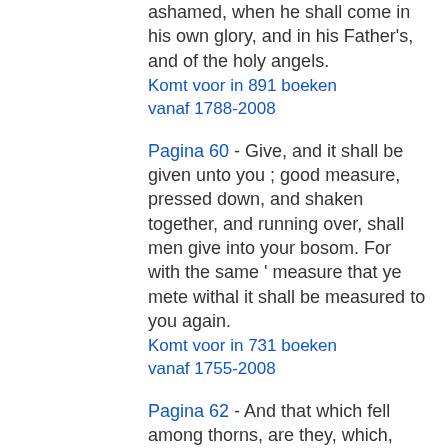ashamed, when he shall come in his own glory, and in his Father's, and of the holy angels.
Komt voor in 891 boeken vanaf 1788-2008
Pagina 60 - Give, and it shall be given unto you ; good measure, pressed down, and shaken together, and running over, shall men give into your bosom. For with the same ' measure that ye mete withal it shall be measured to you again.
Komt voor in 731 boeken vanaf 1755-2008
Pagina 62 - And that which fell among thorns, are they, which, when